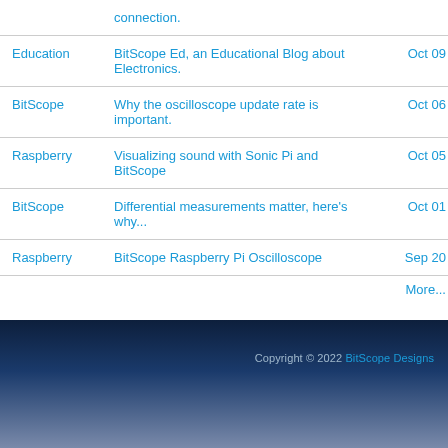| Category | Title | Date |
| --- | --- | --- |
|  | connection. |  |
| Education | BitScope Ed, an Educational Blog about Electronics. | Oct 09 |
| BitScope | Why the oscilloscope update rate is important. | Oct 06 |
| Raspberry | Visualizing sound with Sonic Pi and BitScope | Oct 05 |
| BitScope | Differential measurements matter, here's why... | Oct 01 |
| Raspberry | BitScope Raspberry Pi Oscilloscope | Sep 20 |
|  | More... |  |
Copyright © 2022 BitScope Designs